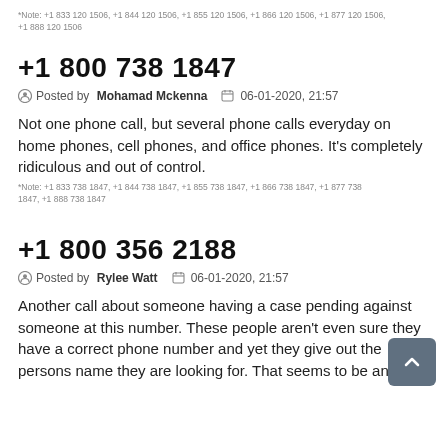*Note: +1 833 120 1506, +1 844 120 1506, +1 855 120 1506, +1 866 120 1506, +1 877 120 1506, +1 888 120 1506
+1 800 738 1847
Posted by Mohamad Mckenna   06-01-2020, 21:57
Not one phone call, but several phone calls everyday on home phones, cell phones, and office phones. It's completely ridiculous and out of control.
*Note: +1 833 738 1847, +1 844 738 1847, +1 855 738 1847, +1 866 738 1847, +1 877 738 1847, +1 888 738 1847
+1 800 356 2188
Posted by Rylee Watt   06-01-2020, 21:57
Another call about someone having a case pending against someone at this number. These people aren't even sure they have a correct phone number and yet they give out the persons name they are looking for. That seems to be an